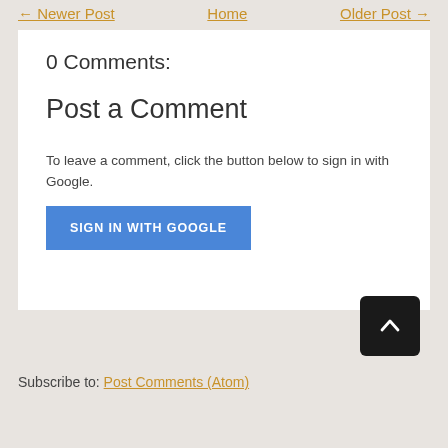← Newer Post   Home   Older Post →
0 Comments:
Post a Comment
To leave a comment, click the button below to sign in with Google.
SIGN IN WITH GOOGLE
Subscribe to: Post Comments (Atom)